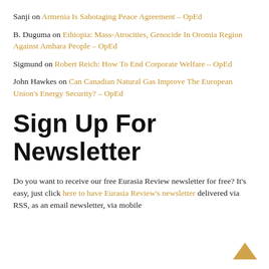Sanji on Armenia Is Sabotaging Peace Agreement – OpEd
B. Duguma on Ethiopia: Mass-Atrocities, Genocide In Oromia Region Against Amhara People – OpEd
Sigmund on Robert Reich: How To End Corporate Welfare – OpEd
John Hawkes on Can Canadian Natural Gas Improve The European Union's Energy Security? – OpEd
Sign Up For Newsletter
Do you want to receive our free Eurasia Review newsletter for free? It's easy, just click here to have Eurasia Review's newsletter delivered via RSS, as an email newsletter, via mobile